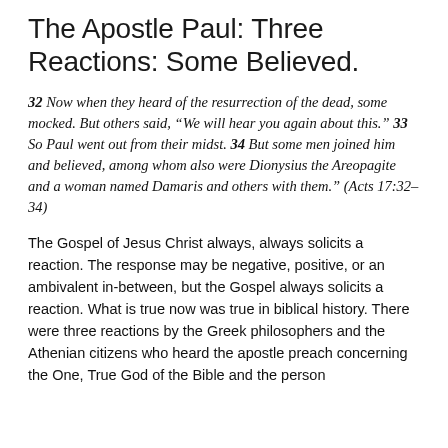The Apostle Paul: Three Reactions: Some Believed.
32 Now when they heard of the resurrection of the dead, some mocked. But others said, “We will hear you again about this.” 33 So Paul went out from their midst. 34 But some men joined him and believed, among whom also were Dionysius the Areopagite and a woman named Damaris and others with them.” (Acts 17:32–34)
The Gospel of Jesus Christ always, always solicits a reaction. The response may be negative, positive, or an ambivalent in-between, but the Gospel always solicits a reaction. What is true now was true in biblical history. There were three reactions by the Greek philosophers and the Athenian citizens who heard the apostle preach concerning the One, True God of the Bible and the person